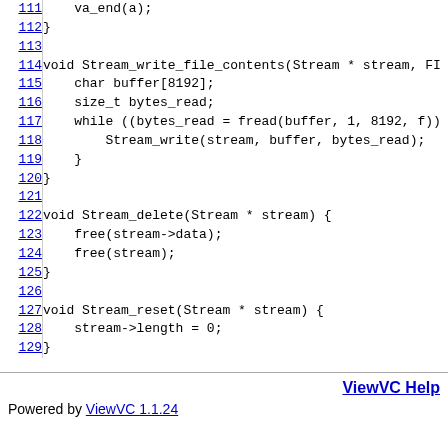Code listing lines 111-129: C source code showing Stream_write_file_contents, Stream_delete, and Stream_reset functions
ViewVC Help | Powered by ViewVC 1.1.24